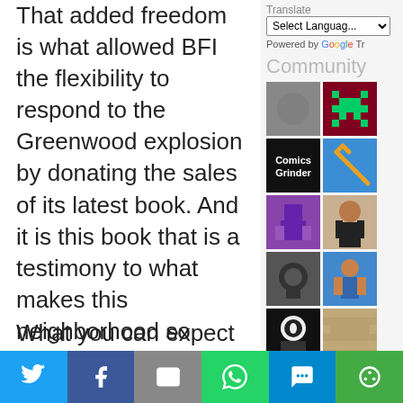That added freedom is what allowed BFI the flexibility to respond to the Greenwood explosion by donating the sales of its latest book. And it is this book that is a testimony to what makes this neighborhood so vital.
What you can expect
[Figure (screenshot): Community grid of images on the right sidebar, with a Google Translate widget above]
Share buttons: Twitter, Facebook, Email, WhatsApp, SMS, More